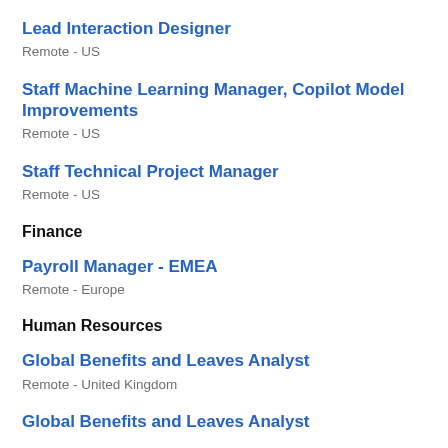Lead Interaction Designer
Remote - US
Staff Machine Learning Manager, Copilot Model Improvements
Remote - US
Staff Technical Project Manager
Remote - US
Finance
Payroll Manager - EMEA
Remote - Europe
Human Resources
Global Benefits and Leaves Analyst
Remote - United Kingdom
Global Benefits and Leaves Analyst